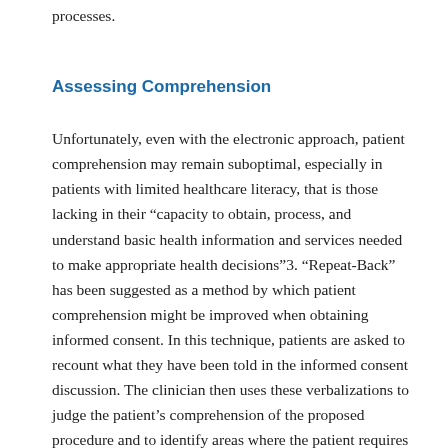processes.
Assessing Comprehension
Unfortunately, even with the electronic approach, patient comprehension may remain suboptimal, especially in patients with limited healthcare literacy, that is those lacking in their “capacity to obtain, process, and understand basic health information and services needed to make appropriate health decisions”3. “Repeat-Back” has been suggested as a method by which patient comprehension might be improved when obtaining informed consent. In this technique, patients are asked to recount what they have been told in the informed consent discussion. The clinician then uses these verbalizations to judge the patient’s comprehension of the proposed procedure and to identify areas where the patient requires further